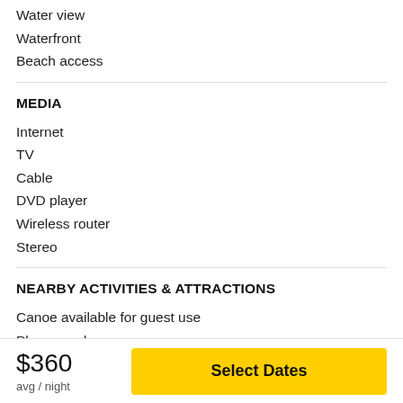Water view
Waterfront
Beach access
MEDIA
Internet
TV
Cable
DVD player
Wireless router
Stereo
NEARBY ACTIVITIES & ATTRACTIONS
Canoe available for guest use
Playground
Dock
Golf nearby
$360 avg / night  Select Dates